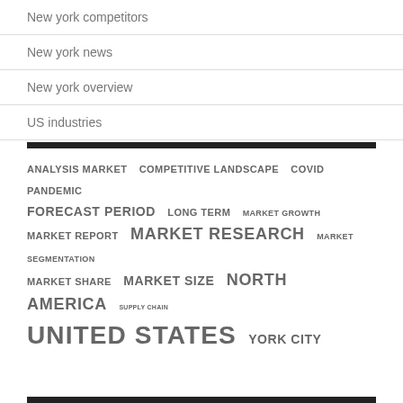New york competitors
New york news
New york overview
US industries
ANALYSIS MARKET  COMPETITIVE LANDSCAPE  COVID PANDEMIC  FORECAST PERIOD  LONG TERM  MARKET GROWTH  MARKET REPORT  MARKET RESEARCH  MARKET SEGMENTATION  MARKET SHARE  MARKET SIZE  NORTH AMERICA  SUPPLY CHAIN  UNITED STATES  YORK CITY